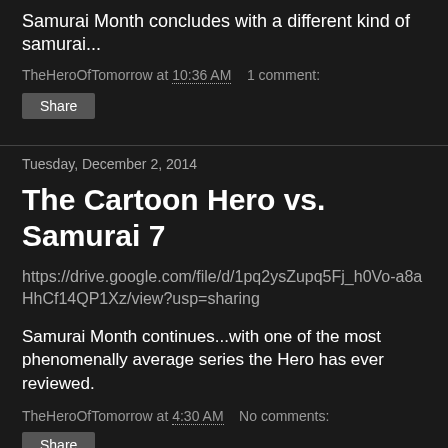Samurai Month concludes with a different kind of samurai...
TheHeroOfTomorrow at 10:36 AM   1 comment:
[Figure (other): Share button]
Tuesday, December 2, 2014
The Cartoon Hero vs. Samurai 7
https://drive.google.com/file/d/1pq2ysZupq5Fj_h0Vo-a8aHhCf14QP1Xz/view?usp=sharing
Samurai Month continues...with one of the most phenomenally average series the Hero has ever reviewed.
TheHeroOfTomorrow at 4:30 AM   No comments:
[Figure (other): Share button]
Saturday, November 29, 2014